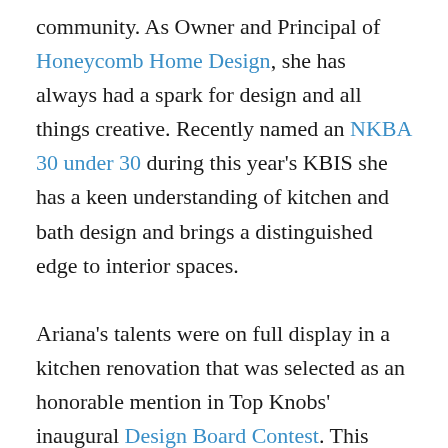community. As Owner and Principal of Honeycomb Home Design, she has always had a spark for design and all things creative. Recently named an NKBA 30 under 30 during this year's KBIS she has a keen understanding of kitchen and bath design and brings a distinguished edge to interior spaces.

Ariana's talents were on full display in a kitchen renovation that was selected as an honorable mention in Top Knobs' inaugural Design Board Contest. This dreamy farmhouse kitchen was carefully crafted with love after a fire had destroyed the owner's original home. We had the opportunity to delve into Ariana's design